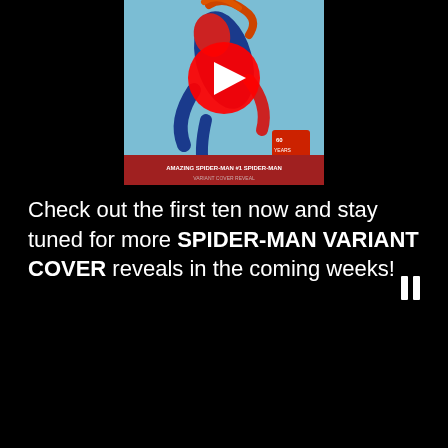[Figure (screenshot): YouTube video thumbnail showing Spider-Man comic book cover art with a red YouTube play button overlay. At the bottom of the thumbnail is a red banner reading 'AMAZING SPIDER-MAN #1 SPIDER-MAN'. The artwork shows Spider-Man in blue and red costume against a blue sky background.]
Check out the first ten now and stay tuned for more SPIDER-MAN VARIANT COVER reveals in the coming weeks!